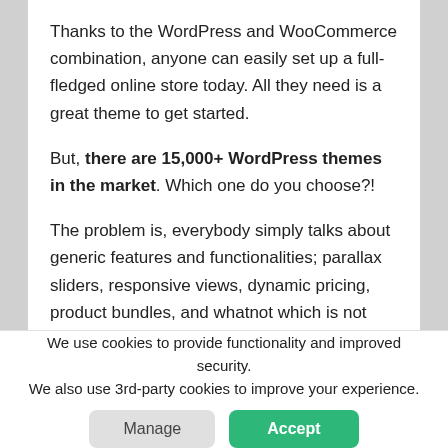Thanks to the WordPress and WooCommerce combination, anyone can easily set up a full-fledged online store today. All they need is a great theme to get started.
But, there are 15,000+ WordPress themes in the market. Which one do you choose?!
The problem is, everybody simply talks about generic features and functionalities; parallax sliders, responsive views, dynamic pricing, product bundles, and whatnot which is not really helpful to know which theme is going to suit your business.
We use cookies to provide functionality and improved security. We also use 3rd-party cookies to improve your experience.